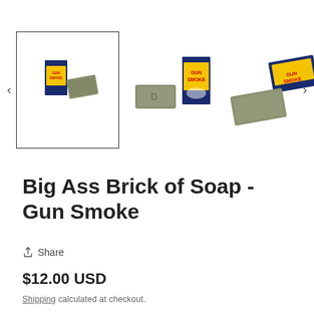[Figure (photo): Three views of Big Ass Brick of Soap - Gun Smoke product: a small thumbnail view with soap brick and box, a mid-size view of the soap brick next to its yellow/blue Gun Smoke box, and a larger view showing the soap brick next to the box from a different angle. Navigation arrows on left and right.]
Big Ass Brick of Soap - Gun Smoke
Share
$12.00 USD
Shipping calculated at checkout.